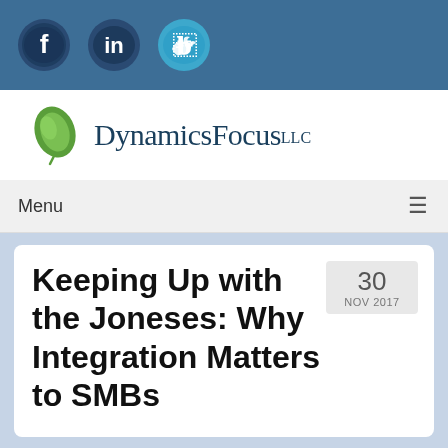[Figure (logo): Social media icons bar: Facebook (f), LinkedIn (in), Twitter (bird icon) on dark blue background]
[Figure (logo): DynamicsFocus LLC logo with green leaf icon and serif text]
Menu ≡
Keeping Up with the Joneses: Why Integration Matters to SMBs
30 NOV 2017